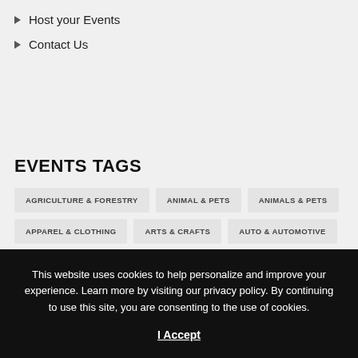Host your Events
Contact Us
EVENTS TAGS
AGRICULTURE & FORESTRY
ANIMAL & PETS
ANIMALS & PETS
APPAREL & CLOTHING
ARTS & CRAFTS
AUTO & AUTOMOTIVE
This website uses cookies to help personalize and improve your experience. Learn more by visiting our privacy policy. By continuing to use this site, you are consenting to the use of cookies.
I Accept